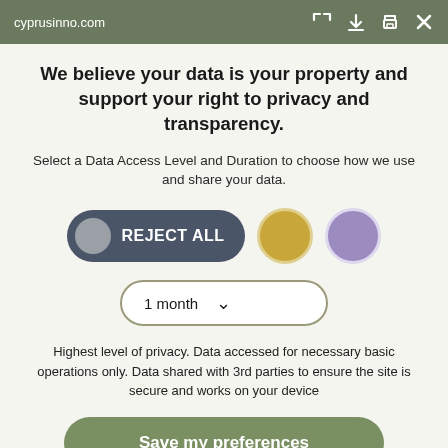cyprusinno.com
We believe your data is your property and support your right to privacy and transparency.
Select a Data Access Level and Duration to choose how we use and share your data.
[Figure (infographic): Cookie consent UI with REJECT ALL button (dark grey pill with grey circle icon), a gold circle option button, and a purple circle option button]
[Figure (infographic): Dropdown selector showing '1 month' with a chevron arrow, styled with olive/tan border]
Highest level of privacy. Data accessed for necessary basic operations only. Data shared with 3rd parties to ensure the site is secure and works on your device
[Figure (infographic): Green rounded button labeled 'Save my preferences']
Customize
Privacy policy